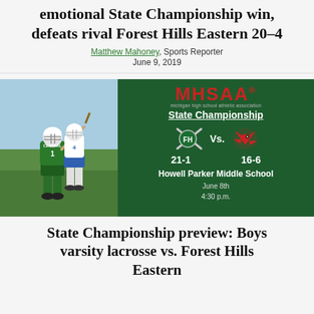emotional State Championship win, defeats rival Forest Hills Eastern 20-4
Matthew Mahoney, Sports Reporter
June 9, 2019
[Figure (photo): Left side: lacrosse action photo of a player in green Central jersey #1 running with a lacrosse stick against a player in white. Right side: MHSAA State Championship matchup graphic showing Forest Hills (21-1) vs. Central (16-6) at Howell Parker Middle School, June 8th, 4:30 p.m.]
State Championship preview: Boys varsity lacrosse vs. Forest Hills Eastern